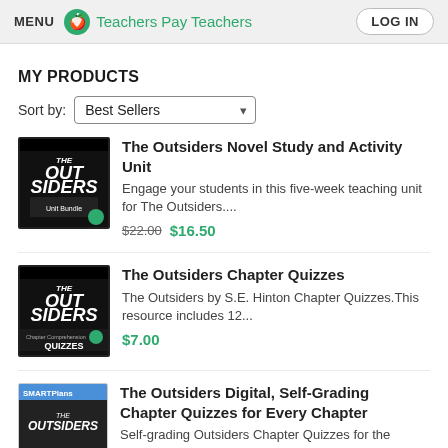MENU | Teachers Pay Teachers | LOG IN
MY PRODUCTS
Sort by: Best Sellers
The Outsiders Novel Study and Activity Unit
Engage your students in this five-week teaching unit for The Outsiders....
$22.00 $16.50
The Outsiders Chapter Quizzes
The Outsiders by S.E. Hinton Chapter Quizzes.This resource includes 12...
$7.00
The Outsiders Digital, Self-Grading Chapter Quizzes for Every Chapter
Self-grading Outsiders Chapter Quizzes for the